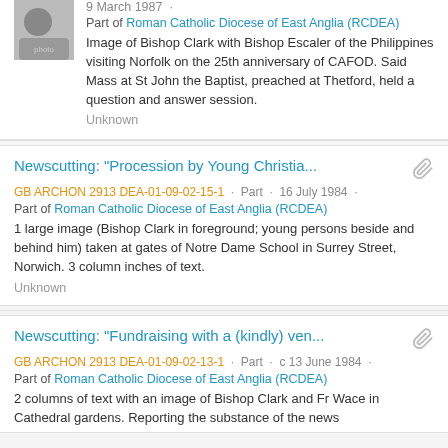[Figure (photo): Black and white photograph of Bishop Clark]
9 March 1987 · Part of Roman Catholic Diocese of East Anglia (RCDEA)
Image of Bishop Clark with Bishop Escaler of the Philippines visiting Norfolk on the 25th anniversary of CAFOD. Said Mass at St John the Baptist, preached at Thetford, held a question and answer session.
Unknown
Newscutting: "Procession by Young Christia..."
GB ARCHON 2913 DEA-01-09-02-15-1 · Part · 16 July 1984 ·
Part of Roman Catholic Diocese of East Anglia (RCDEA)
1 large image (Bishop Clark in foreground; young persons beside and behind him) taken at gates of Notre Dame School in Surrey Street, Norwich. 3 column inches of text.
Unknown
Newscutting: "Fundraising with a (kindly) ven..."
GB ARCHON 2913 DEA-01-09-02-13-1 · Part · c 13 June 1984 ·
Part of Roman Catholic Diocese of East Anglia (RCDEA)
2 columns of text with an image of Bishop Clark and Fr Wace in Cathedral gardens. Reporting the substance of the news